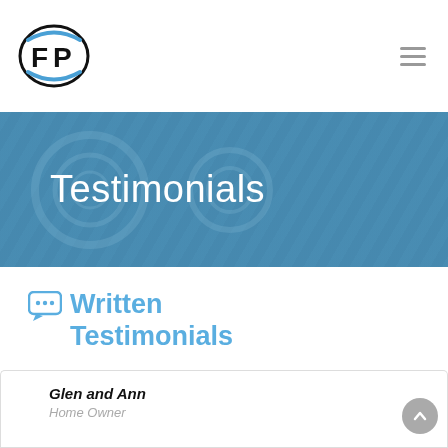[Figure (logo): FP logo: circular emblem with F and P letters in black and blue on white background]
Testimonials
Written Testimonials
Glen and Ann
Home Owner